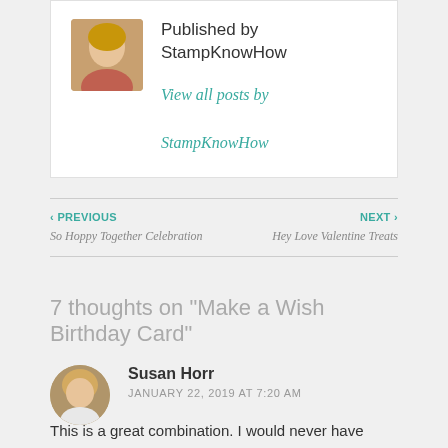Published by StampKnowHow
View all posts by StampKnowHow
‹ PREVIOUS
So Hoppy Together Celebration
NEXT ›
Hey Love Valentine Treats
7 thoughts on "Make a Wish Birthday Card"
Susan Horr
JANUARY 22, 2019 AT 7:20 AM
This is a great combination. I would never have